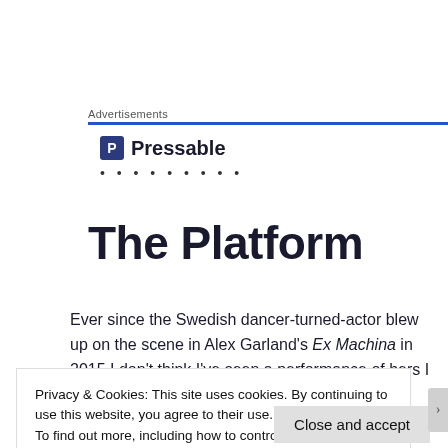Advertisements
[Figure (logo): Pressable logo with blue 'P' icon and dotted line below]
The Platform
Ever since the Swedish dancer-turned-actor blew up on the scene in Alex Garland's Ex Machina in 2015 I don't think I've seen a performance of hers I haven't
Privacy & Cookies: This site uses cookies. By continuing to use this website, you agree to their use.
To find out more, including how to control cookies, see here: Cookie Policy